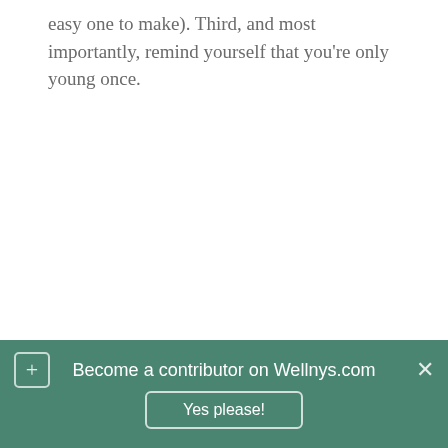easy one to make). Third, and most importantly, remind yourself that you're only young once.
[Figure (screenshot): Banner overlay at the bottom of a webpage: teal/green background with a plus icon button on the left, an X close button on the right, text 'Become a contributor on Wellnys.com', and a 'Yes please!' button below.]